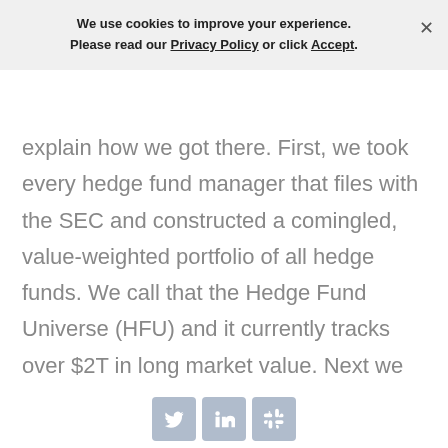We use cookies to improve your experience. Please read our Privacy Policy or click Accept.
explain how we got there. First, we took every hedge fund manager that files with the SEC and constructed a comingled, value-weighted portfolio of all hedge funds. We call that the Hedge Fund Universe (HFU) and it currently tracks over $2T in long market value. Next we ran our own attribution framework called Novus framework on that portfolio. Speaking simply, Novus Framework allows us to decompose returns and understand the portion of returns attributable to market volatility versus picking
[Figure (other): Social media sharing icons: Twitter, LinkedIn, Slack]